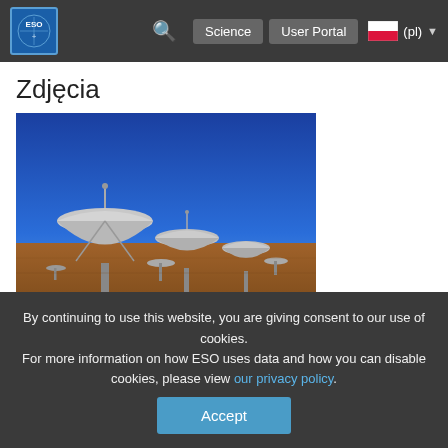ESO — Science | User Portal | (pl)
Zdjęcia
[Figure (photo): Artist's impression of ALMA — multiple radio telescope dishes in a desert landscape under blue sky]
Zdjęcie eso9928a
Artist's impression of ALMA
[Figure (photo): Satellite in orbit above Earth, view from space showing Earth's surface and clouds]
By continuing to use this website, you are giving consent to our use of cookies.
For more information on how ESO uses data and how you can disable cookies, please view our privacy policy.
Accept